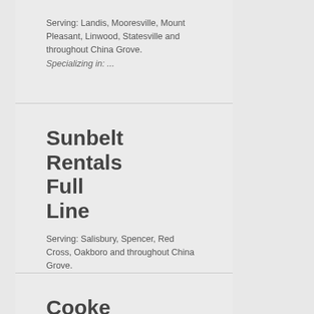Serving: Landis, Mooresville, Mount Pleasant, Linwood, Statesville and throughout China Grove.
Specializing in: ...
Sunbelt Rentals Full Line
Serving: Salisbury, Spencer, Red Cross, Oakboro and throughout China Grove.
Specializing in: ...
Cooke Rentals